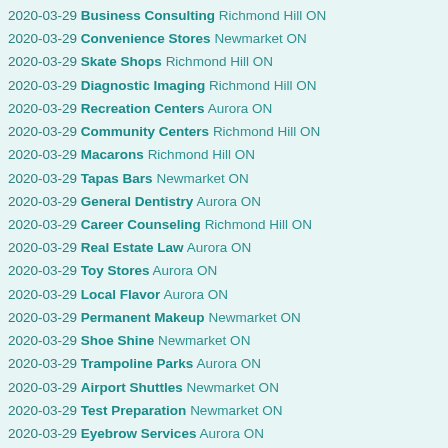2020-03-29 Business Consulting Richmond Hill ON
2020-03-29 Convenience Stores Newmarket ON
2020-03-29 Skate Shops Richmond Hill ON
2020-03-29 Diagnostic Imaging Richmond Hill ON
2020-03-29 Recreation Centers Aurora ON
2020-03-29 Community Centers Richmond Hill ON
2020-03-29 Macarons Richmond Hill ON
2020-03-29 Tapas Bars Newmarket ON
2020-03-29 General Dentistry Aurora ON
2020-03-29 Career Counseling Richmond Hill ON
2020-03-29 Real Estate Law Aurora ON
2020-03-29 Toy Stores Aurora ON
2020-03-29 Local Flavor Aurora ON
2020-03-29 Permanent Makeup Newmarket ON
2020-03-29 Shoe Shine Newmarket ON
2020-03-29 Trampoline Parks Aurora ON
2020-03-29 Airport Shuttles Newmarket ON
2020-03-29 Test Preparation Newmarket ON
2020-03-29 Eyebrow Services Aurora ON
2020-03-29 Sports Medicine Richmond Hill ON
2020-03-29 Food Court Aurora ON
2020-03-29 Kids Activities Aurora ON
2020-03-29 Reflexology Aurora ON